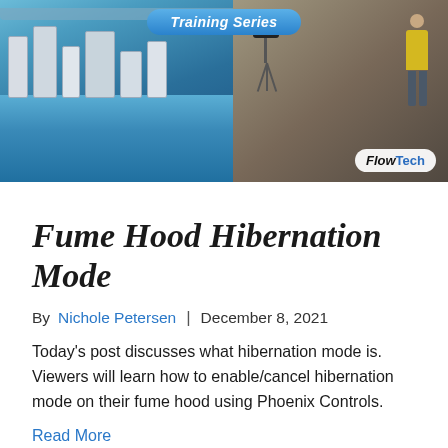[Figure (photo): Training series banner with two photos: left shows a laboratory with blue floor and equipment, right shows a person with a camera on tripod and a worker in yellow vest. 'Training Series' badge at top center, 'Flow Tech' logo at bottom right.]
Fume Hood Hibernation Mode
By Nichole Petersen | December 8, 2021
Today's post discusses what hibernation mode is. Viewers will learn how to enable/cancel hibernation mode on their fume hood using Phoenix Controls.
Read More